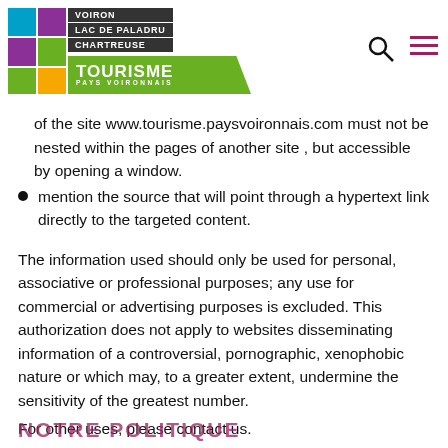VOIRON LAC DE PALADRU CHARTREUSE | TOURISME PAYS VOIRONNAIS
of the site www.tourisme.paysvoironnais.com must not be nested within the pages of another site , but accessible by opening a window.
mention the source that will point through a hypertext link directly to the targeted content.
The information used should only be used for personal, associative or professional purposes; any use for commercial or advertising purposes is excluded. This authorization does not apply to websites disseminating information of a controversial, pornographic, xenophobic nature or which may, to a greater extent, undermine the sensitivity of the greatest number.
For other uses, please contact us.
NOTRE POLITIQUE